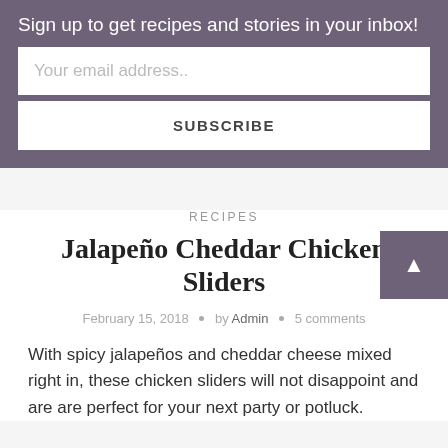Sign up to get recipes and stories in your inbox!
Your email address..
SUBSCRIBE
RECIPES
Jalapeño Cheddar Chicken Sliders
February 15, 2018 • by Admin • 5 comments
With spicy jalapeños and cheddar cheese mixed right in, these chicken sliders will not disappoint and are are perfect for your next party or potluck.